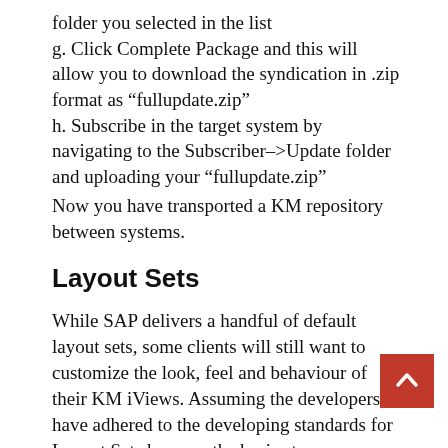folder you selected in the list
g. Click Complete Package and this will allow you to download the syndication in .zip format as “fullupdate.zip”
h. Subscribe in the target system by navigating to the Subscriber–>Update folder and uploading your “fullupdate.zip”
Now you have transported a KM repository between systems.
Layout Sets
While SAP delivers a handful of default layout sets, some clients will still want to customize the look, feel and behaviour of their KM iViews. Assuming the developers have adhered to the developing standards for Layout Sets here are the basic steps for transporting them...